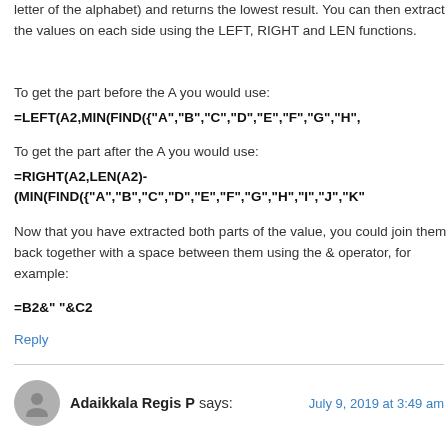letter of the alphabet) and returns the lowest result. You can then extract the values on each side using the LEFT, RIGHT and LEN functions.
To get the part before the A you would use:
To get the part after the A you would use:
Now that you have extracted both parts of the value, you could join them back together with a space between them using the & operator, for example:
Reply
Adaikkala Regis P says:
July 9, 2019 at 3:49 am